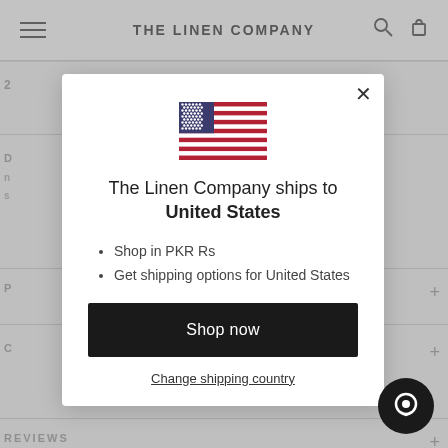[Figure (screenshot): Background of The Linen Company website, greyed out behind modal dialog. Shows the site header with hamburger menu, THE LINEN COMPANY logo, search and cart icons, and partially visible page content below.]
The Linen Company ships to
United States
Shop in PKR Rs
Get shipping options for United States
Shop now
Change shipping country